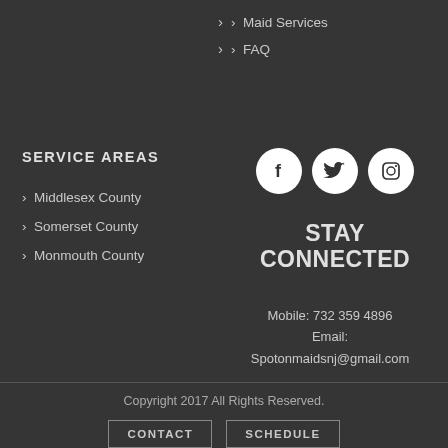> Maid Services
> FAQ
SERVICE AREAS
> Middlesex County
> Somerset County
> Monmouth County
[Figure (illustration): Social media icons: Facebook, Twitter, Instagram (white circles with dark icons on dark background)]
STAY CONNECTED
Mobile: 732 359 4896
Email:
Spotonmaidsnj@gmail.com
Copyright 2017 All Rights Reserved.
CONTACT   SCHEDULE